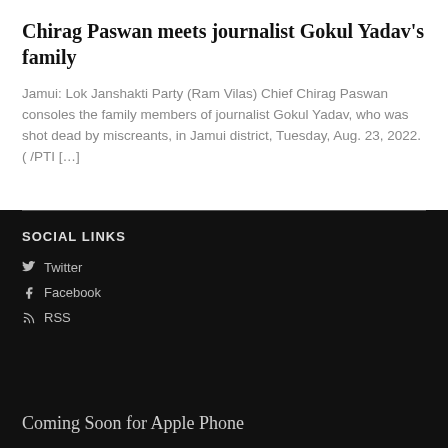Chirag Paswan meets journalist Gokul Yadav's family
Jamui: Lok Janshakti Party (Ram Vilas) Chief Chirag Paswan consoles the family members of journalist Gokul Yadav, who was shot dead by miscreants, in Jamui district, Tuesday, Aug. 23, 2022. ( /PTI […]
SOCIAL LINKS
Twitter
Facebook
RSS
Coming Soon for Apple Phone